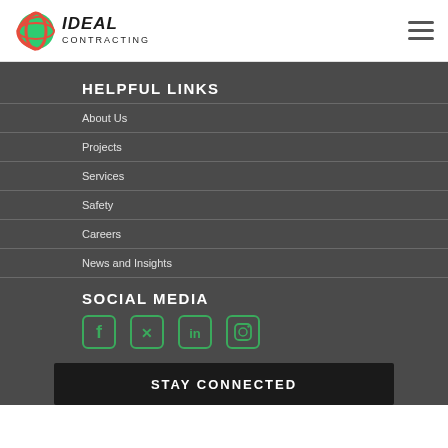Ideal Contracting logo and navigation menu
HELPFUL LINKS
About Us
Projects
Services
Safety
Careers
News and Insights
SOCIAL MEDIA
[Figure (infographic): Social media icons: Facebook, Twitter, LinkedIn, Instagram, each in a green-bordered square]
STAY CONNECTED